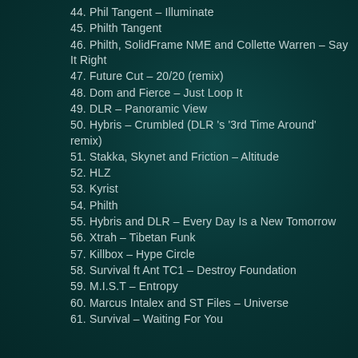44. Phil Tangent – Illuminate
45. Philth Tangent
46. Philth, SolidFrame NME and Collette Warren – Say It Right
47. Future Cut – 20/20 (remix)
48. Dom and Fierce – Just Loop It
49. DLR – Panoramic View
50. Hybris – Crumbled (DLR 's '3rd Time Around' remix)
51. Stakka, Skynet and Friction – Altitude
52. HLZ
53. Kyrist
54. Philth
55. Hybris and DLR – Every Day Is a New Tomorrow
56. Xtrah – Tibetan Funk
57. Killbox – Hype Circle
58. Survival ft Ant TC1 – Destroy Foundation
59. M.I.S.T – Entropy
60. Marcus Intalex and ST Files – Universe
61. Survival – Waiting For You